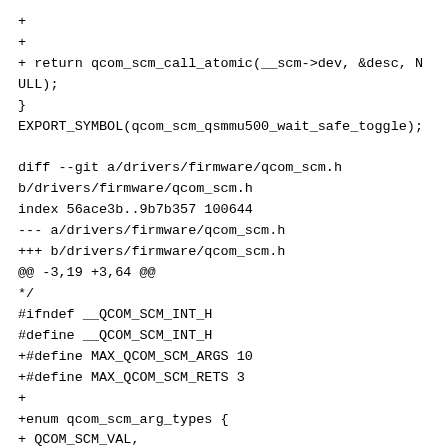+
+
+ return qcom_scm_call_atomic(__scm->dev, &desc, NULL);
}
EXPORT_SYMBOL(qcom_scm_qsmmu500_wait_safe_toggle);

diff --git a/drivers/firmware/qcom_scm.h
b/drivers/firmware/qcom_scm.h
index 56ace3b..9b7b357 100644
--- a/drivers/firmware/qcom_scm.h
+++ b/drivers/firmware/qcom_scm.h
@@ -3,19 +3,64 @@
*/
#ifndef __QCOM_SCM_INT_H
#define __QCOM_SCM_INT_H
+#define MAX_QCOM_SCM_ARGS 10
+#define MAX_QCOM_SCM_RETS 3
+
+enum qcom_scm_arg_types {
+ QCOM_SCM_VAL,
+ QCOM_SCM_RO,
+ QCOM_SCM_RW,
+ QCOM_SCM_BUFVAL,
+};
+